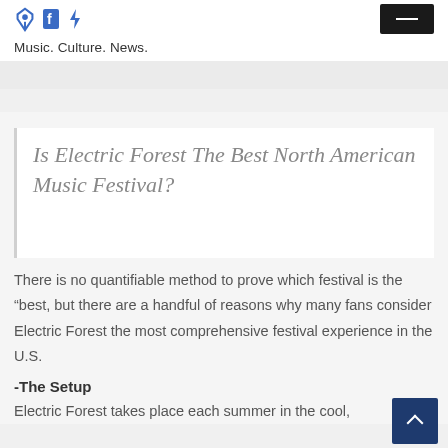[Figure (logo): Social media icons (pin/location, Facebook, lightning bolt) and a dark hamburger menu button]
Music. Culture. News.
Is Electric Forest The Best North American Music Festival?
There is no quantifiable method to prove which festival is the “best, but there are a handful of reasons why many fans consider Electric Forest the most comprehensive festival experience in the U.S.
-The Setup
Electric Forest takes place each summer in the cool,